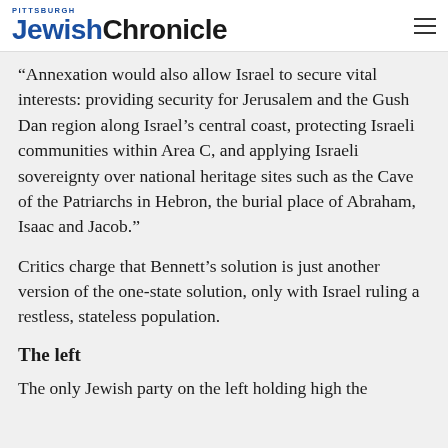Pittsburgh Jewish Chronicle
“Annexation would also allow Israel to secure vital interests: providing security for Jerusalem and the Gush Dan region along Israel’s central coast, protecting Israeli communities within Area C, and applying Israeli sovereignty over national heritage sites such as the Cave of the Patriarchs in Hebron, the burial place of Abraham, Isaac and Jacob.”
Critics charge that Bennett’s solution is just another version of the one-state solution, only with Israel ruling a restless, stateless population.
The left
The only Jewish party on the left holding high the